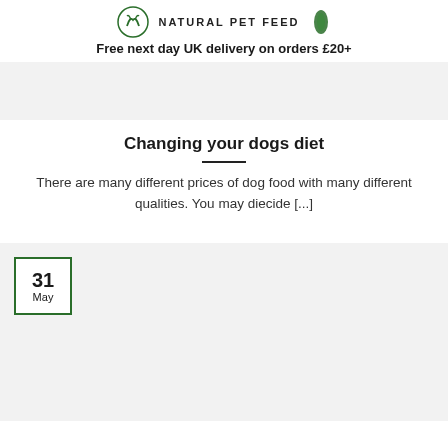NATURAL PET FEED
Free next day UK delivery on orders £20+
[Figure (other): Grey banner area at top of page]
Changing your dogs diet
There are many different prices of dog food with many different qualities. You may diecide [...]
[Figure (other): Grey content block with date badge showing 31 May]